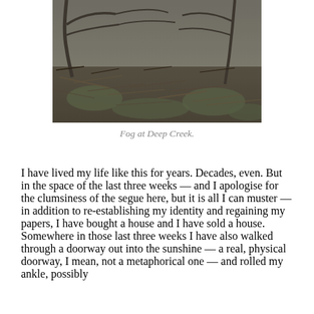[Figure (photo): A foggy outdoor scene showing bare tree branches and ground covered with twigs and dry grass with some green patches, taken at Deep Creek.]
Fog at Deep Creek.
I have lived my life like this for years. Decades, even. But in the space of the last three weeks — and I apologise for the clumsiness of the segue here, but it is all I can muster — in addition to re-establishing my identity and regaining my papers, I have bought a house and I have sold a house. Somewhere in those last three weeks I have also walked through a doorway out into the sunshine — a real, physical doorway, I mean, not a metaphorical one — and rolled my ankle, possibly